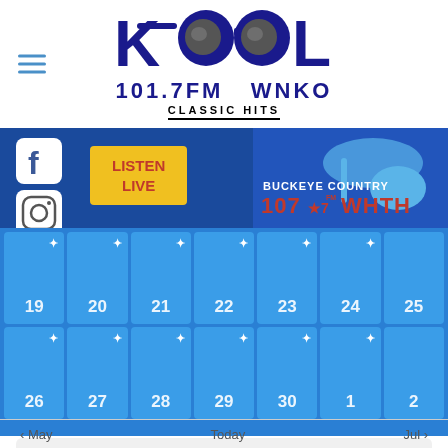[Figure (logo): KOOL 101.7FM WNKO Classic Hits radio station logo with sunglasses graphic]
[Figure (logo): Buckeye Country 107.7 WHTH radio station logo with guitar graphic]
LISTEN LIVE
[Figure (other): Calendar view showing dates 19-25 and 26-2 in a blue grid layout]
There were no results found.
< May   Today   Jul >